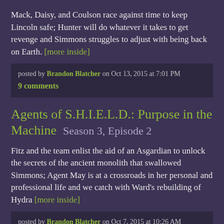Mack, Daisy, and Coulson race against time to keep Lincoln safe; Hunter will do whatever it takes to get revenge and Simmons struggles to adjust with being back on Earth. [more inside]
posted by Brandon Blatcher on Oct 13, 2015 at 7:01 PM
9 comments
Agents of S.H.I.E.L.D.: Purpose in the Machine  Season 3, Episode 2
Fitz and the team enlist the aid of an Asgardian to unlock the secrets of the ancient monolith that swallowed Simmons; Agent May is at a crossroads in her personal and professional life and we catch with Ward's rebuilding of Hydra [more inside]
posted by Brandon Blatcher on Oct 7, 2015 at 10:26 AM
23 comments